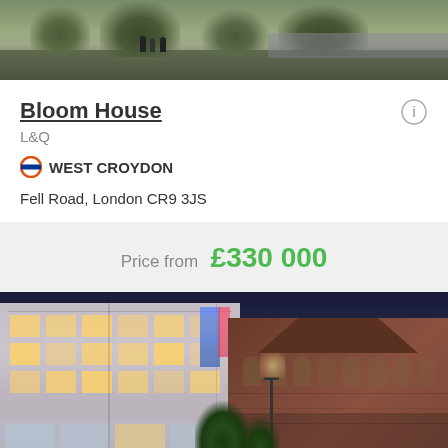[Figure (photo): Outdoor scene with trees and people walking, partial view at top of card]
Bloom House
L&Q
WEST CROYDON
Fell Road, London CR9 3JS
Price from £330 000
[Figure (photo): Artist impression of a modern residential building development at night, with a historic brick church building visible to the right]